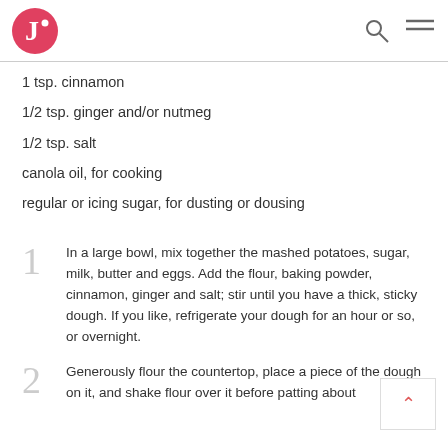J logo, search icon, menu icon
1 tsp. cinnamon
1/2 tsp. ginger and/or nutmeg
1/2 tsp. salt
canola oil, for cooking
regular or icing sugar, for dusting or dousing
1  In a large bowl, mix together the mashed potatoes, sugar, milk, butter and eggs. Add the flour, baking powder, cinnamon, ginger and salt; stir until you have a thick, sticky dough. If you like, refrigerate your dough for an hour or so, or overnight.
2  Generously flour the countertop, place a piece of the dough on it, and shake flour over it before patting about